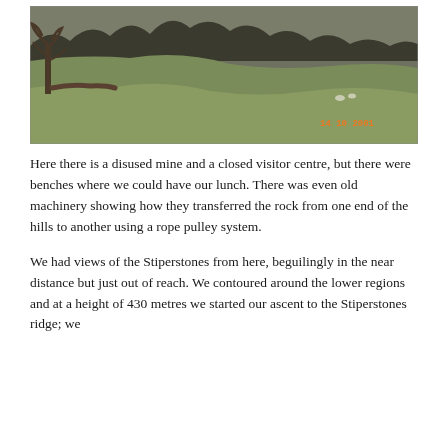[Figure (photo): Outdoor photograph of a grassy hillside with bare trees on the left and background. An orange timestamp '14 10 2001' is visible in the lower right of the photo.]
Here there is a disused mine and a closed visitor centre, but there were benches where we could have our lunch. There was even old machinery showing how they transferred the rock from one end of the hills to another using a rope pulley system.
We had views of the Stiperstones from here, beguilingly in the near distance but just out of reach. We contoured around the lower regions and at a height of 430 metres we started our ascent to the Stiperstones ridge; we